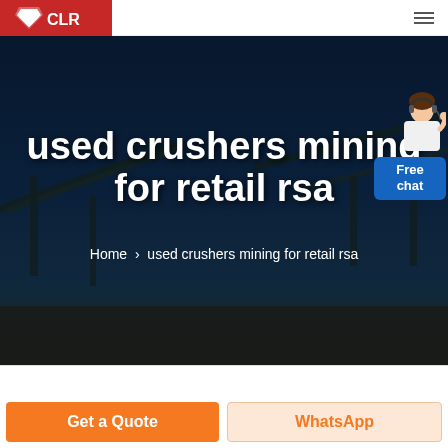CLR logo / navigation header
used crushers mining for retail rsa
Home > used crushers mining for retail rsa
[Figure (photo): Industrial mining/crushing facility background image with dark blue overlay, showing conveyor belts and crushing equipment]
[Figure (illustration): Customer service chat agent avatar (woman with headset) next to a blue 'Free chat' button]
Get a Quote
WhatsApp